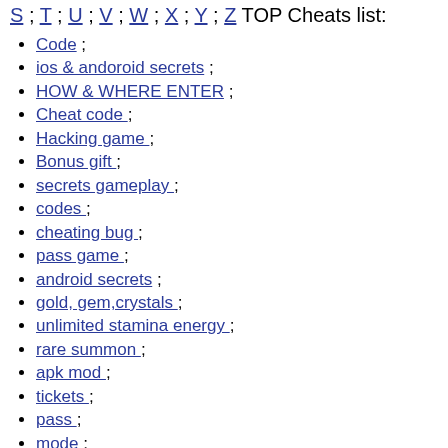S ; T ; U ; V ; W ; X ; Y ; Z TOP Cheats list:
Code ;
ios & andoroid secrets ;
HOW & WHERE ENTER ;
Cheat code ;
Hacking game ;
Bonus gift ;
secrets gameplay ;
codes ;
cheating bug ;
pass game ;
android secrets ;
gold, gem,crystals ;
unlimited stamina energy ;
rare summon ;
apk mod ;
tickets ;
pass ;
mode ;
wiki ;
faq ;
note ;
tips&hints ;